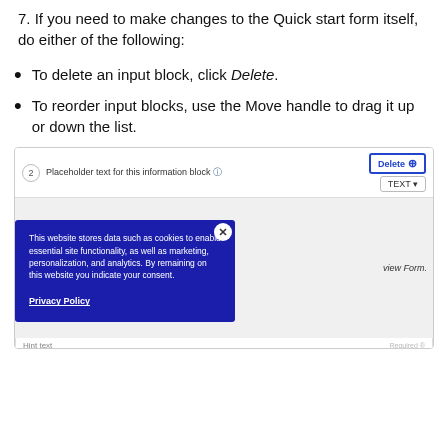7. If you need to make changes to the Quick start form itself, do either of the following:
To delete an input block, click Delete.
To reorder input blocks, use the Move handle to drag it up or down the list.
[Figure (screenshot): Screenshot of a Quick Start form editor showing an input block with 'Placeholder text for this information block' label, a Delete button highlighted with blue border, and a cookie consent overlay in dark blue reading: 'This website stores data such as cookies to enable essential site functionality, as well as marketing, personalization, and analytics. By remaining on this website you indicate your consent.' with a Privacy Policy link. Partially visible text 'view Form.' and a bottom section showing 'Hint text'.]